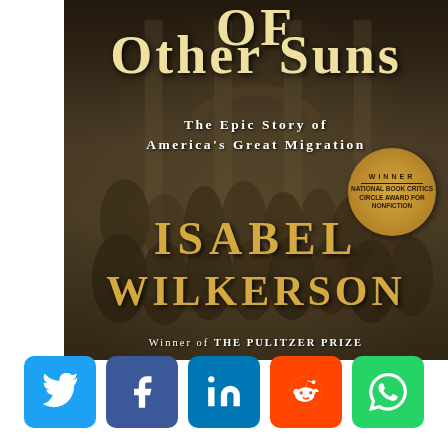[Figure (photo): Book cover of 'The Warmth of Other Suns: The Epic Story of America's Great Migration' by Isabel Wilkerson. Sepia-toned photograph of a large crowd of African American people gathered in front of a building. The cover shows large gold/cream title text, white subtitle text, an award medallion for the National Book Critics Circle Award for Nonfiction, and the author's name in gold letters. Bottom text reads 'Winner of THE PULITZER PRIZE'.]
[Figure (infographic): Row of five social media share buttons: Twitter (blue), Facebook (dark blue), LinkedIn (blue), Reddit (orange-red), WhatsApp (green)]